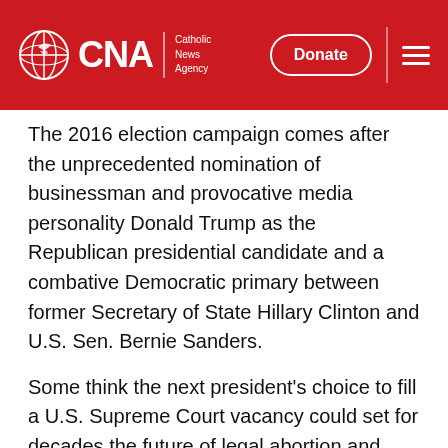CNA | Catholic News Agency — Donate
The 2016 election campaign comes after the unprecedented nomination of businessman and provocative media personality Donald Trump as the Republican presidential candidate and a combative Democratic primary between former Secretary of State Hillary Clinton and U.S. Sen. Bernie Sanders.
Some think the next president's choice to fill a U.S. Supreme Court vacancy could set for decades the future of legal abortion and religious liberty in the country.
On top of these tensions are conflicts over